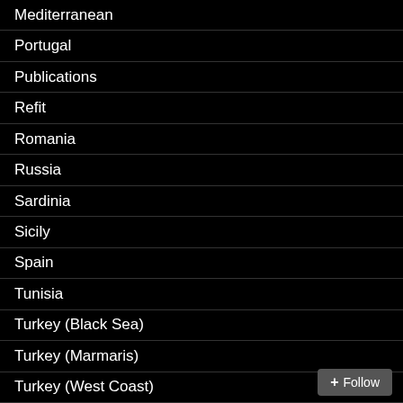Mediterranean
Portugal
Publications
Refit
Romania
Russia
Sardinia
Sicily
Spain
Tunisia
Turkey (Black Sea)
Turkey (Marmaris)
Turkey (West Coast)